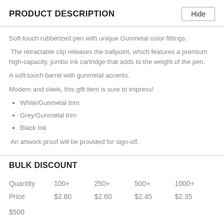PRODUCT DESCRIPTION
Soft-touch rubberized pen with unique Gunmetal color fittings.
The retractable clip releases the ballpoint, which features a premium high-capacity, jumbo ink cartridge that adds to the weight of the pen.
A soft-touch barrel with gunmetal accents.
Modern and sleek, this gift item is sure to impress!
White/Gunmetal trim
Grey/Gunmetal trim
Black Ink
An artwork proof will be provided for sign-off.
BULK DISCOUNT
| Quantity | 100+ | 250+ | 500+ | 1000+ |
| --- | --- | --- | --- | --- |
| Price | $2.80 | $2.60 | $2.45 | $2.35 |